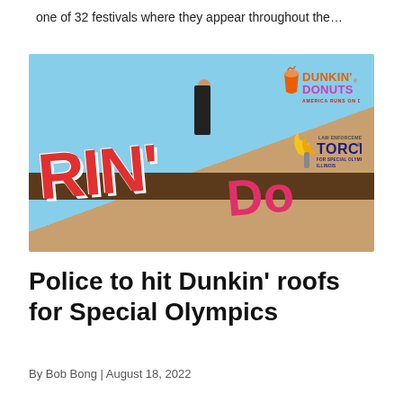one of 32 festivals where they appear throughout the…
[Figure (photo): A person sitting/waving on the roof of a Dunkin' Donuts restaurant, with Dunkin' Donuts and Law Enforcement Torch Run for Special Olympics Illinois logos overlaid on the image.]
Police to hit Dunkin' roofs for Special Olympics
By Bob Bong | August 18, 2022